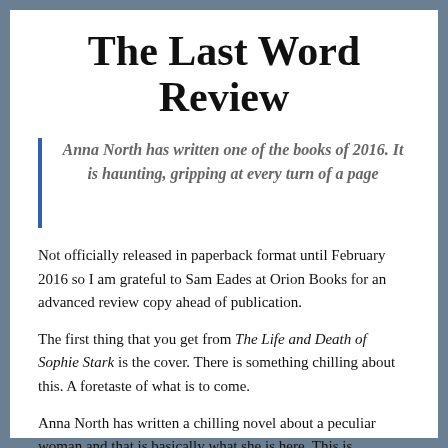The Last Word Review
Anna North has written one of the books of 2016. It is haunting, gripping at every turn of a page
Not officially released in paperback format until February 2016 so I am grateful to Sam Eades at Orion Books for an advanced review copy ahead of publication.
The first thing that you get from The Life and Death of Sophie Stark is the cover. There is something chilling about this. A foretaste of what is to come.
Anna North has written a chilling novel about a peculiar woman and that is basically what she is here. This is